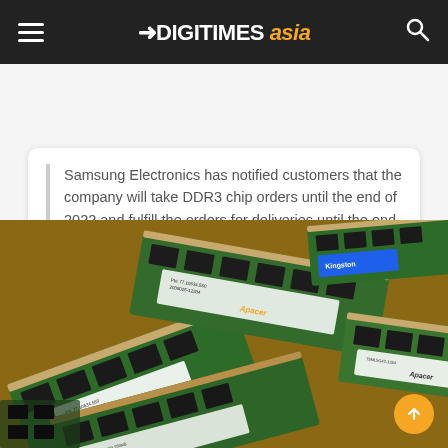DIGITIMES asia
Samsung Electronics has notified customers that the company will take DDR3 chip orders until the end of 2022 and fulfill the orders for deliveries until the end …
[Figure (photo): Pile of various DDR RAM memory modules (including Apacer, Kingston brands) on a wooden surface, showing green PCBs with black memory chips and white sticker labels]